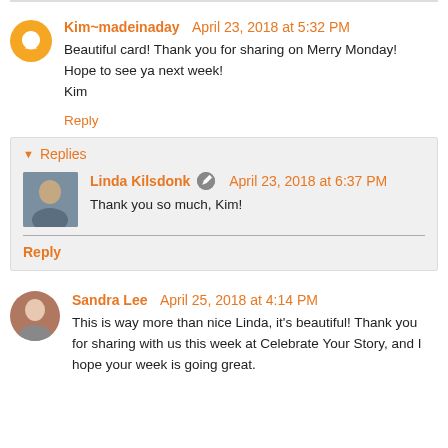Kim~madeinaday  April 23, 2018 at 5:32 PM
Beautiful card! Thank you for sharing on Merry Monday! Hope to see ya next week!
Kim
Reply
Replies
Linda Kilsdonk  April 23, 2018 at 6:37 PM
Thank you so much, Kim!
Reply
Sandra Lee  April 25, 2018 at 4:14 PM
This is way more than nice Linda, it's beautiful! Thank you for sharing with us this week at Celebrate Your Story, and I hope your week is going great.